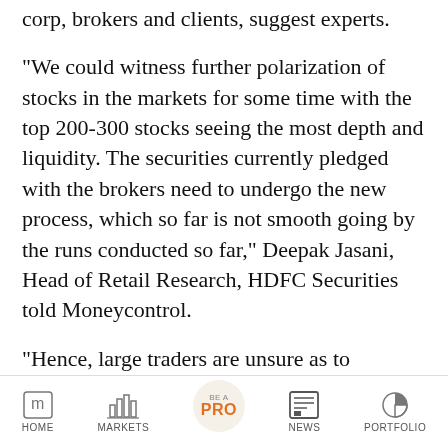corp, brokers and clients, suggest experts.
"We could witness further polarization of stocks in the markets for some time with the top 200-300 stocks seeing the most depth and liquidity. The securities currently pledged with the brokers need to undergo the new process, which so far is not smooth going by the runs conducted so far," Deepak Jasani, Head of Retail Research, HDFC Securities told Moneycontrol.
"Hence, large traders are unsure as to whether they will have limits to trade on Sept 01 which may lead to volume drop in both Cash and F&O segments that may last a few days/weeks," he
HOME  MARKETS  BE A PRO  NEWS  PORTFOLIO